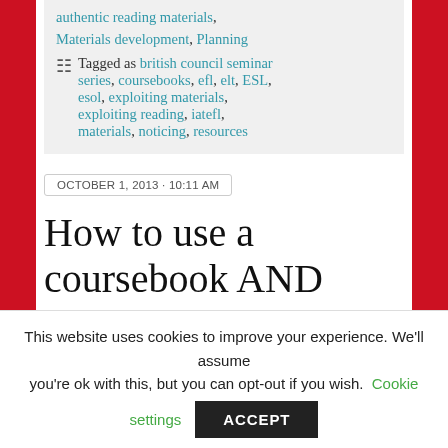authentic reading materials, Materials development, Planning Tagged as british council seminar series, coursebooks, efl, elt, ESL, esol, exploiting materials, exploiting reading, iatefl, materials, noticing, resources
OCTOBER 1, 2013 · 10:11 AM
How to use a coursebook AND
This website uses cookies to improve your experience. We'll assume you're ok with this, but you can opt-out if you wish. Cookie settings ACCEPT